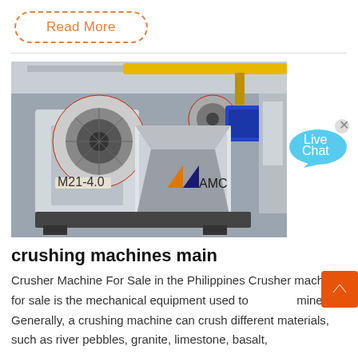Read More
[Figure (photo): Industrial jaw crusher machine photographed in a factory workshop, showing the flywheel, toggle mechanism, and AMC logo watermark]
[Figure (infographic): Live Chat speech bubble icon in light blue]
crushing machines main
Crusher Machine For Sale in the Philippines Crusher machine for sale is the mechanical equipment used to minerals. Generally, a crushing machine can crush different materials, such as river pebbles, granite, limestone, basalt,